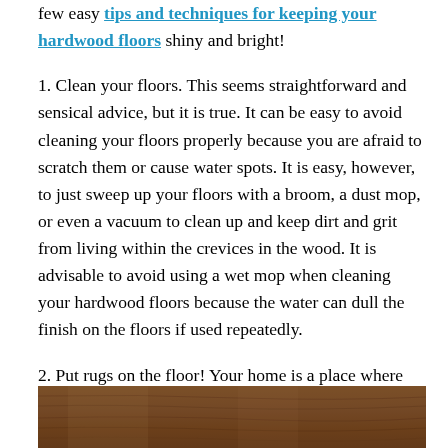few easy tips and techniques for keeping your hardwood floors shiny and bright!
1. Clean your floors. This seems straightforward and sensical advice, but it is true. It can be easy to avoid cleaning your floors properly because you are afraid to scratch them or cause water spots. It is easy, however, to just sweep up your floors with a broom, a dust mop, or even a vacuum to clean up and keep dirt and grit from living within the crevices in the wood. It is advisable to avoid using a wet mop when cleaning your hardwood floors because the water can dull the finish on the floors if used repeatedly.
2. Put rugs on the floor! Your home is a place where you are going to live and walk and move
[Figure (photo): Close-up photo of hardwood floor showing wood grain texture in brown tones]